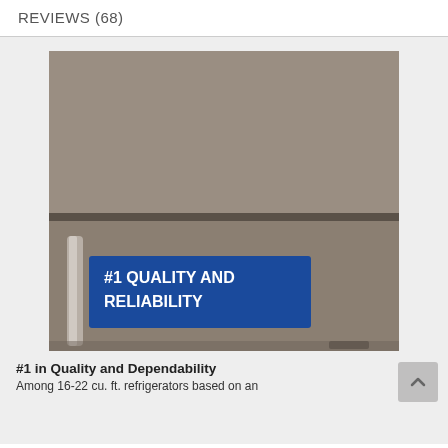REVIEWS (68)
[Figure (photo): GE refrigerator (top-freezer, slate/gray color) with a blue banner overlay reading '#1 QUALITY AND RELIABILITY' in white bold text. GE logo visible in upper right corner of the appliance.]
#1 in Quality and Dependability
Among 16-22 cu. ft. refrigerators based on an